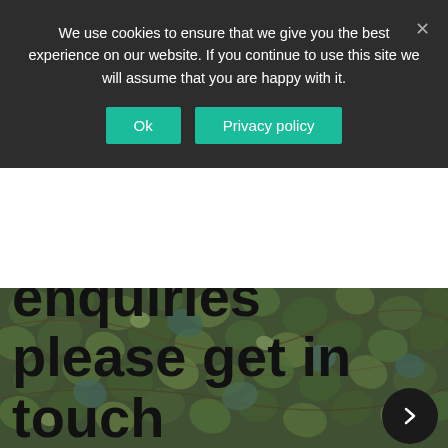We use cookies to ensure that we give you the best experience on our website. If you continue to use this site we will assume that you are happy with it.
Ok  Privacy policy
[Figure (photo): Background photo of green ivy leaves covering a wall, with a dark semi-transparent overlay. Large bold text reads 'For any enquiries please get in touch' overlaid on the image.]
For any enquiries please get in touch